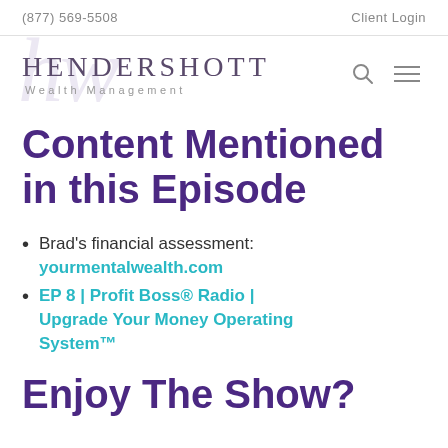(877) 569-5508    Client Login
[Figure (logo): Hendershott Wealth Management logo with stylized watermark and search/menu icons]
Content Mentioned in this Episode
Brad's financial assessment: yourmentalwealth.com
EP 8 | Profit Boss® Radio | Upgrade Your Money Operating System™
Enjoy The Show?